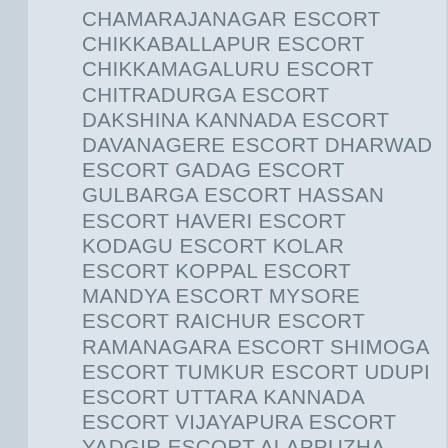CHAMARAJANAGAR ESCORT CHIKKABALLAPUR ESCORT CHIKKAMAGALURU ESCORT CHITRADURGA ESCORT DAKSHINA KANNADA ESCORT DAVANAGERE ESCORT DHARWAD ESCORT GADAG ESCORT GULBARGA ESCORT HASSAN ESCORT HAVERI ESCORT KODAGU ESCORT KOLAR ESCORT KOPPAL ESCORT MANDYA ESCORT MYSORE ESCORT RAICHUR ESCORT RAMANAGARA ESCORT SHIMOGA ESCORT TUMKUR ESCORT UDUPI ESCORT UTTARA KANNADA ESCORT VIJAYAPURA ESCORT YADGIR ESCORT ALAPPUZHA ESCORT ERNAKULAM ESCORT IDUKKI ESCORT KANNUR ESCORT KASARAGOD ESCORT KOLLAM ESCORT KOTTAYAM ESCORT KOZHIKODE ESCORT